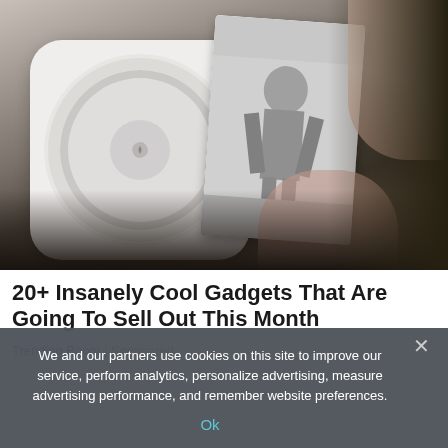[Figure (photo): A hand holding a small white portable photo printer (PeriPage brand) with a printed black and white photograph being fed out, on top of a laptop keyboard background.]
20+ Insanely Cool Gadgets That Are Going To Sell Out This Month
Trending Boom | Sponsored
We and our partners use cookies on this site to improve our service, perform analytics, personalize advertising, measure advertising performance, and remember website preferences.
Ok